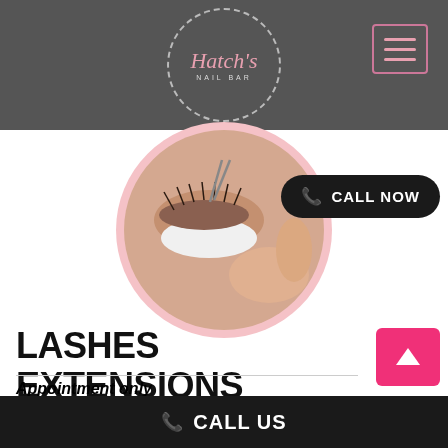Hatch's Nail Bar — logo and navigation header
[Figure (photo): Close-up circular photo of eyelash extension application — tweezers applying lashes to an eye with white under-eye pad]
CALL NOW
LASHES EXTENSIONS
Appointment only
Classic Full Set
CALL US